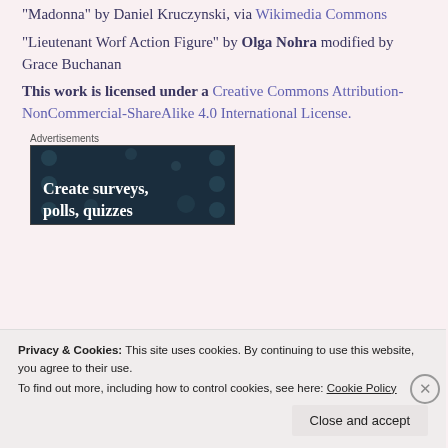"Madonna" by Daniel Kruczynski, via Wikimedia Commons
"Lieutenant Worf Action Figure" by Olga Nohra modified by Grace Buchanan
This work is licensed under a Creative Commons Attribution-NonCommercial-ShareAlike 4.0 International License.
Advertisements
[Figure (screenshot): Dark teal advertisement banner with white bold text reading 'Create surveys, polls, quizzes' with decorative circle dots pattern]
Privacy & Cookies: This site uses cookies. By continuing to use this website, you agree to their use. To find out more, including how to control cookies, see here: Cookie Policy
Close and accept